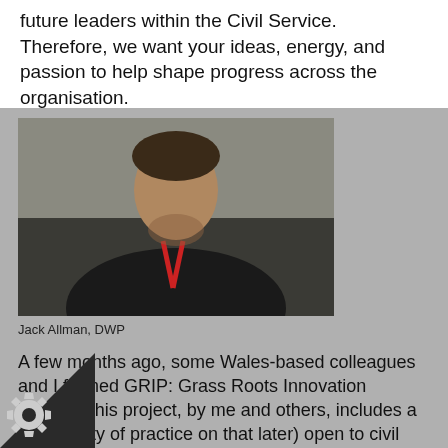future leaders within the Civil Service. Therefore, we want your ideas, energy, and passion to help shape progress across the organisation.
[Figure (photo): Headshot photo of Jack Allman, a young man with dark hair and beard wearing a black hoodie and a red lanyard, photographed against a grey background.]
Jack Allman, DWP
A few months ago, some Wales-based colleagues and I formed GRIP: Grass Roots Innovation Project. This project, by me and others, includes a community of practice on that later) open to civil servants from grade AA to here in the UK, in frontline operational delivery